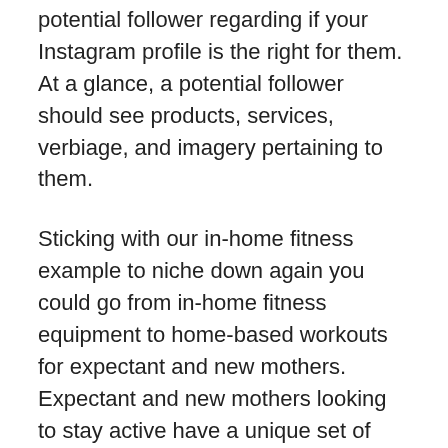potential follower regarding if your Instagram profile is the right for them. At a glance, a potential follower should see products, services, verbiage, and imagery pertaining to them.
Sticking with our in-home fitness example to niche down again you could go from in-home fitness equipment to home-based workouts for expectant and new mothers. Expectant and new mothers looking to stay active have a unique set of challenges and desires that need to be addressed.
Design the elements of your Instagram account from top to bottom to appeal to expecting and new moms eager to stay healthy throughout pregnancy and thereafter. What are the goals they would like to accomplish? What issues are standing in the way? That intersection is the sweet spot of marketing where you want your Instagram to live.